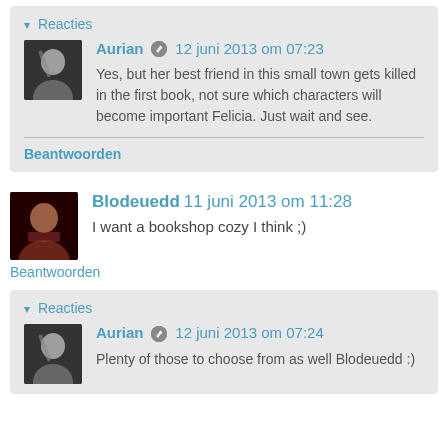▾ Reacties
Aurian 🖉 12 juni 2013 om 07:23
Yes, but her best friend in this small town gets killed in the first book, not sure which characters will become important Felicia. Just wait and see.
Beantwoorden
Blodeuedd 11 juni 2013 om 11:28
I want a bookshop cozy I think ;)
Beantwoorden
▾ Reacties
Aurian 🖉 12 juni 2013 om 07:24
Plenty of those to choose from as well Blodeuedd :)